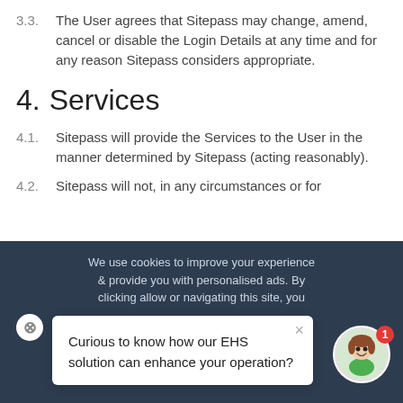3.3. The User agrees that Sitepass may change, amend, cancel or disable the Login Details at any time and for any reason Sitepass considers appropriate.
4. Services
4.1. Sitepass will provide the Services to the User in the manner determined by Sitepass (acting reasonably).
4.2. Sitepass will not, in any circumstances or for
We use cookies to improve your experience & provide you with personalised ads. By clicking allow or navigating this site, you
Curious to know how our EHS solution can enhance your operation?